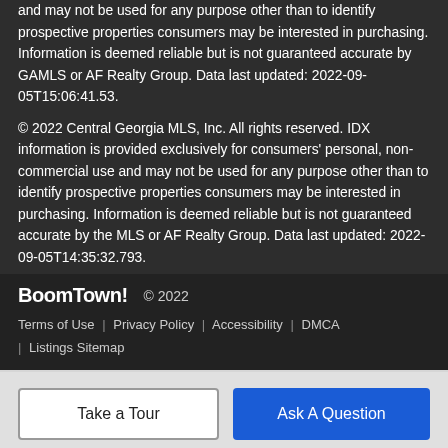and may not be used for any purpose other than to identify prospective properties consumers may be interested in purchasing. Information is deemed reliable but is not guaranteed accurate by GAMLS or AF Realty Group. Data last updated: 2022-09-05T15:06:41.53.
© 2022 Central Georgia MLS, Inc. All rights reserved. IDX information is provided exclusively for consumers' personal, non-commercial use and may not be used for any purpose other than to identify prospective properties consumers may be interested in purchasing. Information is deemed reliable but is not guaranteed accurate by the MLS or AF Realty Group. Data last updated: 2022-09-05T14:35:32.793.
BoomTown! © 2022 | Terms of Use | Privacy Policy | Accessibility | DMCA | Listings Sitemap
Take a Tour
Ask A Question